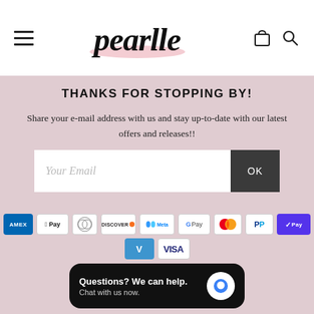pearlle — navigation header with hamburger menu, logo, cart and search icons
THANKS FOR STOPPING BY!
Share your e-mail address with us and stay up-to-date with our latest offers and releases!!
[Figure (screenshot): Email subscription input field with placeholder text 'Your Email' and a dark OK button]
[Figure (infographic): Payment method icons: Amex, Apple Pay, Diners Club, Discover, Meta Pay, Google Pay, Mastercard, PayPal, Shop Pay, Venmo, Visa]
Questions? We can help. Chat with us now.